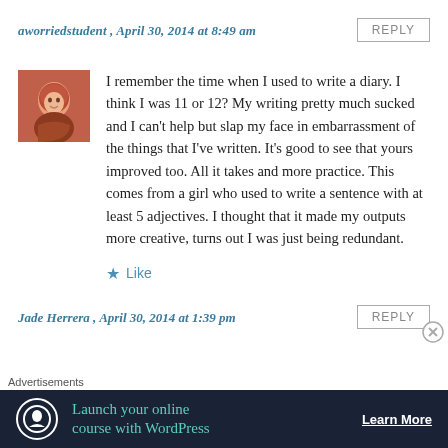aworriedstudent , April 30, 2014 at 8:49 am
[Figure (photo): Small square avatar photo of a girl with dark red/brown hair]
I remember the time when I used to write a diary. I think I was 11 or 12? My writing pretty much sucked and I can't help but slap my face in embarrassment of the things that I've written. It's good to see that yours improved too. All it takes and more practice. This comes from a girl who used to write a sentence with at least 5 adjectives. I thought that it made my outputs more creative, turns out I was just being redundant.
★ Like
Jade Herrera , April 30, 2014 at 1:39 pm
Advertisements
[Figure (infographic): Dark banner ad: Launch your online course with WordPress — Learn More]